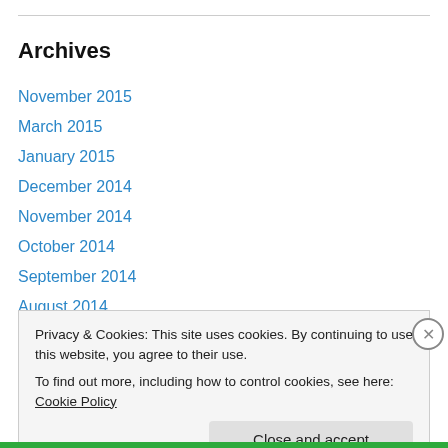Archives
November 2015
March 2015
January 2015
December 2014
November 2014
October 2014
September 2014
August 2014
July 2014
June 2014
Privacy & Cookies: This site uses cookies. By continuing to use this website, you agree to their use. To find out more, including how to control cookies, see here: Cookie Policy
Close and accept